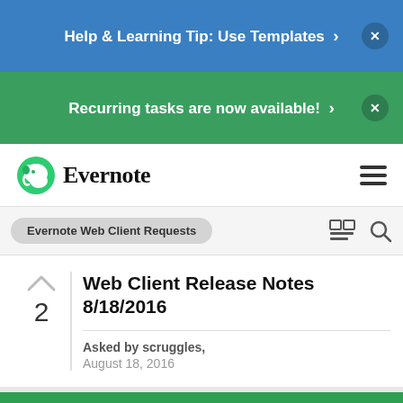Help & Learning Tip: Use Templates ›  ×
Recurring tasks are now available! ›  ×
Evernote
Evernote Web Client Requests
Web Client Release Notes 8/18/2016
Asked by scruggles, August 18, 2016
Idea
scruggles  +48